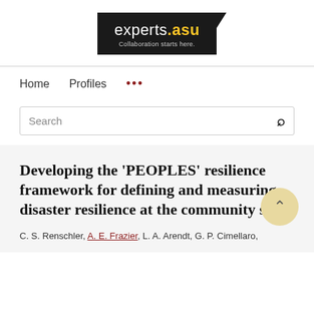[Figure (logo): experts.asu logo — black background rectangle with white text 'experts' and gold '.asu', tagline 'Collaboration starts here.' in grey, with black tab/notch at top right corner]
Home   Profiles   ...
Search
Developing the 'PEOPLES' resilience framework for defining and measuring disaster resilience at the community scale
C. S. Renschler, A. E. Frazier, L. A. Arendt, G. P. Cimellaro,